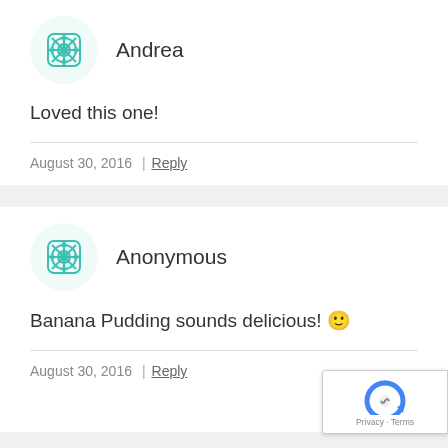[Figure (illustration): Teal geometric/mandala avatar icon for user Andrea]
Andrea
Loved this one!
August 30, 2016 | Reply
[Figure (illustration): Teal geometric/mandala avatar icon for user Anonymous]
Anonymous
Banana Pudding sounds delicious! 🙂
August 30, 2016 | Reply
[Figure (logo): Google reCAPTCHA badge with Privacy and Terms links]